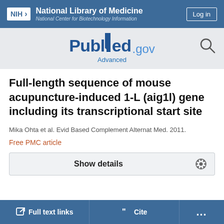[Figure (logo): NIH National Library of Medicine header with logo and Log in button]
[Figure (logo): PubMed.gov logo with Advanced search link and search icon]
Full-length sequence of mouse acupuncture-induced 1-L (aig1l) gene including its transcriptional start site
Mika Ohta et al. Evid Based Complement Alternat Med. 2011.
Free PMC article
Show details
Full text links
Cite
...